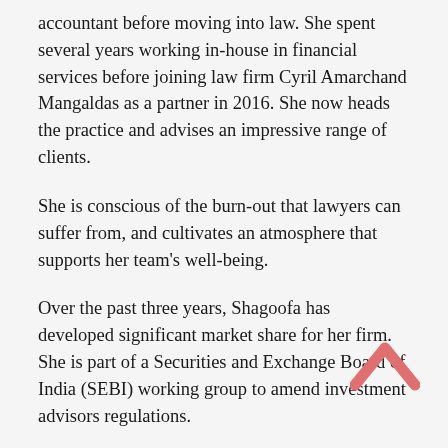accountant before moving into law. She spent several years working in-house in financial services before joining law firm Cyril Amarchand Mangaldas as a partner in 2016. She now heads the practice and advises an impressive range of clients.
She is conscious of the burn-out that lawyers can suffer from, and cultivates an atmosphere that supports her team’s well-being.
Over the past three years, Shagoofa has developed significant market share for her firm. She is part of a Securities and Exchange Board of India (SEBI) working group to amend investment advisors regulations.
[Figure (illustration): Pink/rose colored upward-pointing chevron (caret) icon]
What was her greatest achievement for a client: As a general counsel, Shagoofa’s picked regulations...